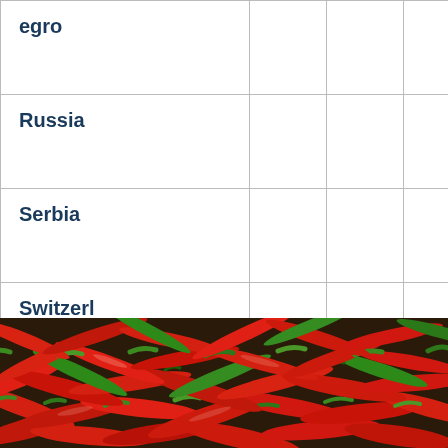| Country |  |  |  |
| --- | --- | --- | --- |
| ...egro |  |  |  |
| Russia |  |  |  |
| Serbia |  |  |  |
| Switzerland |  |  |  |
| Turkey |  |  |  |
| Ukraine |  |  |  |
[Figure (photo): A pile of red and green chili peppers filling the bottom portion of the page]